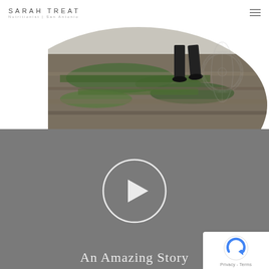SARAH TREAT
Nutritionist | San Antonio
[Figure (photo): Person walking on layered green mossy rock steps, outdoor nature scene. A faint decorative floral illustration overlaps on the right side. White background above and below the circular-cropped photo.]
[Figure (screenshot): Dark grey video section with a circular white play button in the center. Below the play button, partially visible text reads 'An Amazing Story'. A reCAPTCHA badge is in the bottom-right corner showing the reCAPTCHA logo and 'Privacy - Terms' text.]
An Amazing Story